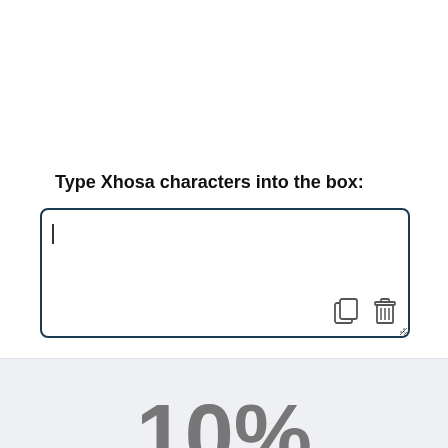Type Xhosa characters into the box:
[Figure (screenshot): An empty text input box with a dark navy blue border and rounded corners. A text cursor is visible at the top-left inside the box. In the bottom-right corner of the box are two icons: a copy icon and a trash/delete icon. A small resize handle appears at the bottom-right corner of the box.]
10%